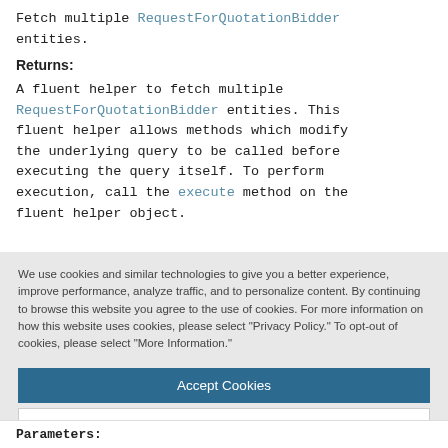Fetch multiple RequestForQuotationBidder entities.
Returns:
A fluent helper to fetch multiple RequestForQuotationBidder entities. This fluent helper allows methods which modify the underlying query to be called before executing the query itself. To perform execution, call the execute method on the fluent helper object.
We use cookies and similar technologies to give you a better experience, improve performance, analyze traffic, and to personalize content. By continuing to browse this website you agree to the use of cookies. For more information on how this website uses cookies, please select "Privacy Policy." To opt-out of cookies, please select "More Information."
Accept Cookies
More Information
Privacy Policy | Powered by: TrustArc
Parameters: